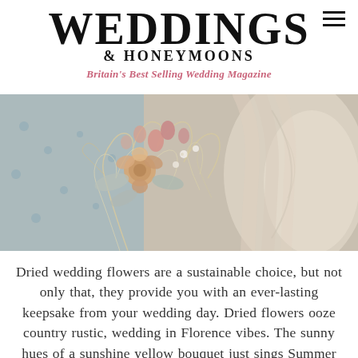WEDDINGS & HONEYMOONS — Britain's Best Selling Wedding Magazine
[Figure (photo): Close-up photo of a dried flower wedding bouquet with pampas grass, pink roses, and soft dried florals, held against a soft blue and white background]
Dried wedding flowers are a sustainable choice, but not only that, they provide you with an ever-lasting keepsake from your wedding day. Dried flowers ooze country rustic, wedding in Florence vibes. The sunny hues of a sunshine yellow bouquet just sings Summer wedding. Or alternatively, opt for a dried baby's breath